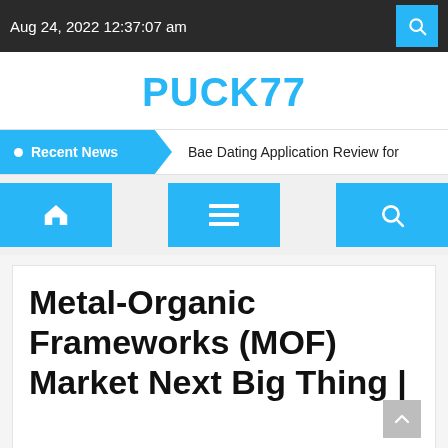Aug 24, 2022 12:37:07 am
PUCK77
Recent News  Bae Dating Application Review for
[Figure (other): Navigation bar with home icon button, hamburger menu icon button, and search icon button, all in cyan/blue color]
Metal-Organic Frameworks (MOF) Market Next Big Thing |